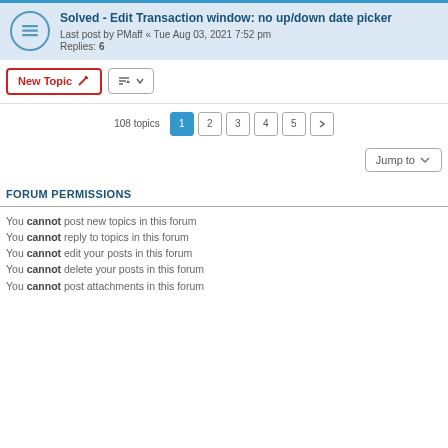Solved - Edit Transaction window: no up/down date picker
Last post by PMaff « Tue Aug 03, 2021 7:52 pm
Replies: 6
New Topic
108 topics  1  2  3  4  5  >
Jump to
FORUM PERMISSIONS
You cannot post new topics in this forum
You cannot reply to topics in this forum
You cannot edit your posts in this forum
You cannot delete your posts in this forum
You cannot post attachments in this forum